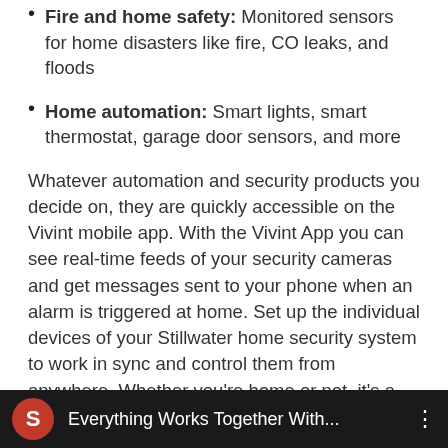Fire and home safety: Monitored sensors for home disasters like fire, CO leaks, and floods
Home automation: Smart lights, smart thermostat, garage door sensors, and more
Whatever automation and security products you decide on, they are quickly accessible on the Vivint mobile app. With the Vivint App you can see real-time feeds of your security cameras and get messages sent to your phone when an alarm is triggered at home. Set up the individual devices of your Stillwater home security system to work in sync and control them from anywhere. Whether you're home or not, it's a breeze to manage your security system and smart home with the comprehensive Vivint App.
[Figure (screenshot): Video thumbnail bar showing a dark background with a red circle S logo and text 'Everything Works Together With...' and a three-dot menu icon]